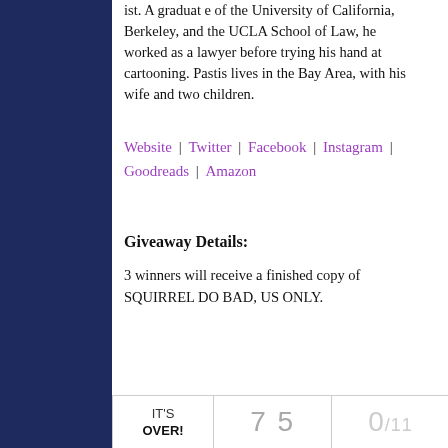ist. A graduate of the University of California, Berkeley, and the UCLA School of Law, he worked as a lawyer before trying his hand at cartooning. Pastis lives in the Bay Area, with his wife and two children.
Website | Twitter | Facebook | Instagram | Goodreads | Amazon
Giveaway Details:
3 winners will receive a finished copy of SQUIRREL DO BAD, US ONLY.
| IT'S OVER! | 75 | 0/11 |
| --- | --- | --- |